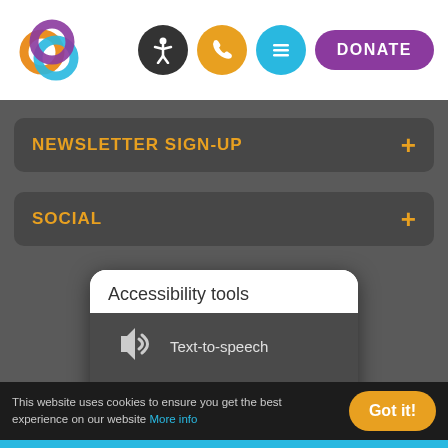[Figure (logo): Colorful circular logo with overlapping rings in purple, blue, and orange]
[Figure (infographic): Header navigation icons: accessibility person icon (black circle), phone icon (gold circle), menu icon (blue circle), and DONATE button (purple pill)]
NEWSLETTER SIGN-UP
SOCIAL
[Figure (screenshot): Accessibility tools popup panel showing: Text-to-speech (speaker icon), Scaling (aAA text icon), Translation (globe icon)]
This website uses cookies to ensure you get the best experience on our website More info
Got it!